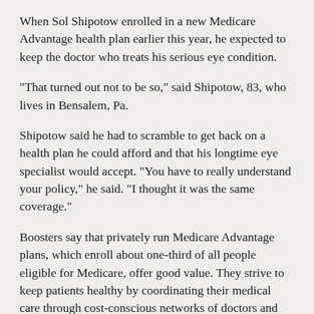When Sol Shipotow enrolled in a new Medicare Advantage health plan earlier this year, he expected to keep the doctor who treats his serious eye condition.
“That turned out not to be so,” said Shipotow, 83, who lives in Bensalem, Pa.
Shipotow said he had to scramble to get back on a health plan he could afford and that his longtime eye specialist would accept. “You have to really understand your policy,” he said. “I thought it was the same coverage.”
Boosters say that privately run Medicare Advantage plans, which enroll about one-third of all people eligible for Medicare, offer good value. They strive to keep patients healthy by coordinating their medical care through cost-conscious networks of doctors and